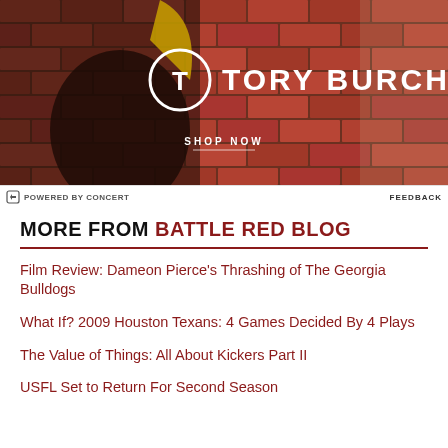[Figure (photo): Tory Burch advertisement banner featuring a model in dark clothing against a brick wall background, with the Tory Burch logo and 'SHOP NOW' call to action]
POWERED BY CONCERT   FEEDBACK
MORE FROM BATTLE RED BLOG
Film Review: Dameon Pierce's Thrashing of The Georgia Bulldogs
What If? 2009 Houston Texans: 4 Games Decided By 4 Plays
The Value of Things: All About Kickers Part II
USFL Set to Return For Second Season